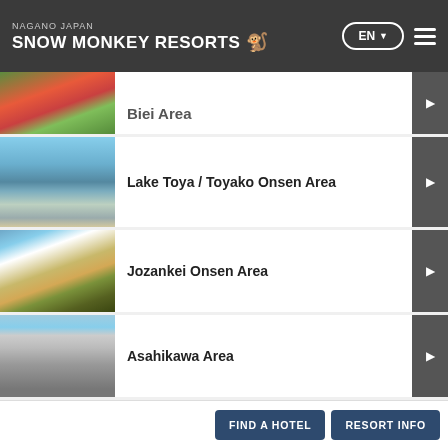NAGANO JAPAN SNOW MONKEY RESORTS
Biei Area
Lake Toya / Toyako Onsen Area
Jozankei Onsen Area
Asahikawa Area
Daisetsuzan National Park / Asahidake Onsen